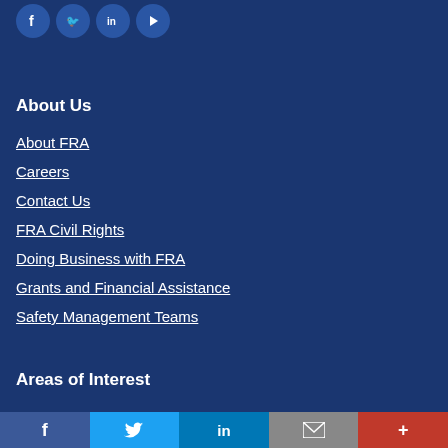[Figure (illustration): Row of four social media icon circles (Facebook, Twitter, LinkedIn, YouTube) on dark blue background]
About Us
About FRA
Careers
Contact Us
FRA Civil Rights
Doing Business with FRA
Grants and Financial Assistance
Safety Management Teams
Areas of Interest
[Figure (illustration): Bottom bar with five social media icons: Facebook (blue), Twitter (light blue), LinkedIn (dark blue), Email (gray), More (red)]